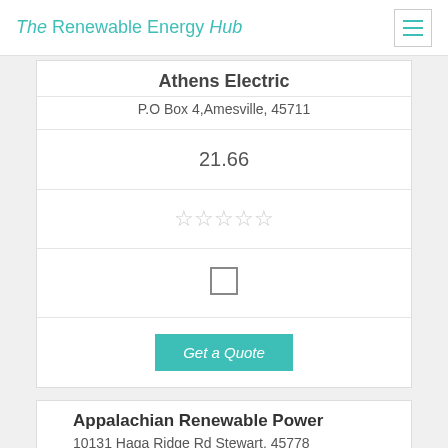The Renewable Energy Hub
Athens Electric
P.O Box 4,Amesville, 45711
21.66
[Figure (other): Five empty star rating icons]
[Figure (other): Empty checkbox]
Get a Quote
Appalachian Renewable Power
10131 Haga Ridge Rd Stewart, 45778